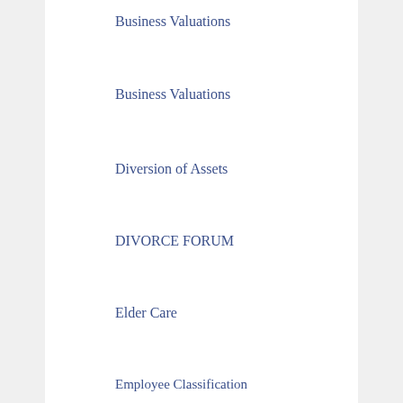Business Valuations
Business Valuations
Diversion of Assets
DIVORCE FORUM
Elder Care
Employee Classification
Estate Taxes
ESTATE, TRUST, GUARDIANSHIP
Financial Abuse of Elderly
Fraud